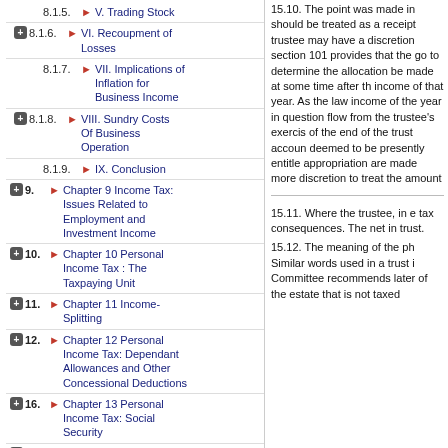8.1.5. V. Trading Stock
8.1.6. VI. Recoupment of Losses
8.1.7. VII. Implications of Inflation for Business Income
8.1.8. VIII. Sundry Costs Of Business Operation
8.1.9. IX. Conclusion
9. Chapter 9 Income Tax: Issues Related to Employment and Investment Income
10. Chapter 10 Personal Income Tax : The Taxpaying Unit
11. Chapter 11 Income-Splitting
12. Chapter 12 Personal Income Tax: Dependant Allowances and Other Concessional Deductions
16. Chapter 13 Personal Income Tax: Social Security
17. Chapter 14 Personal Income Tax: Rate Structure
19. Chapter 15 Income Taxation in Relation to Trusts and Partnerships
15.10. The point was made in should be treated as a receipt trustee may have a discretion section 101 provides that the go to determine the allocation be made at some time after the income of that year. As the law income of the year in question flow from the trustee's exercise of the end of the trust account deemed to be presently entitled appropriation are made more discretion to treat the amount
15.11. Where the trustee, in e tax consequences. The net in trust.
15.12. The meaning of the ph Similar words used in a trust i Committee recommends later of the estate that is not taxed